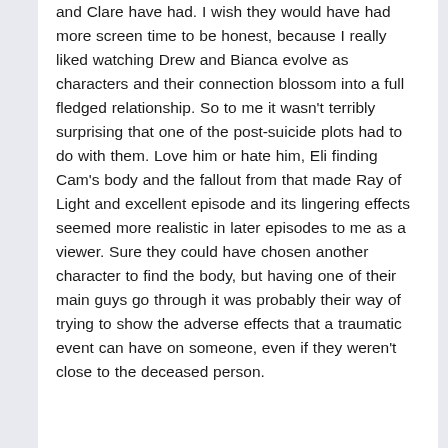and Clare have had. I wish they would have had more screen time to be honest, because I really liked watching Drew and Bianca evolve as characters and their connection blossom into a full fledged relationship. So to me it wasn't terribly surprising that one of the post-suicide plots had to do with them. Love him or hate him, Eli finding Cam's body and the fallout from that made Ray of Light and excellent episode and its lingering effects seemed more realistic in later episodes to me as a viewer. Sure they could have chosen another character to find the body, but having one of their main guys go through it was probably their way of trying to show the adverse effects that a traumatic event can have on someone, even if they weren't close to the deceased person.